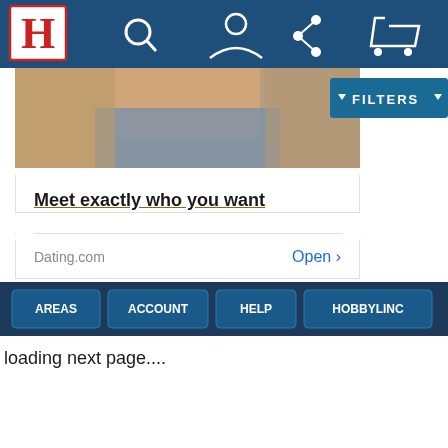[Figure (screenshot): Hobbylinc website top navigation bar with red H logo, search icon, person icon, share icon, and cart icon on dark blue background]
[Figure (photo): Partial photo of a person in denim, used as advertisement image for Dating.com]
[Figure (screenshot): Filters button in dark blue on the right side]
Meet exactly who you want
Dating.com    Open >
[Figure (screenshot): Bottom navigation bar with buttons: Areas, Account, Help, Hobbylinc]
loading next page....